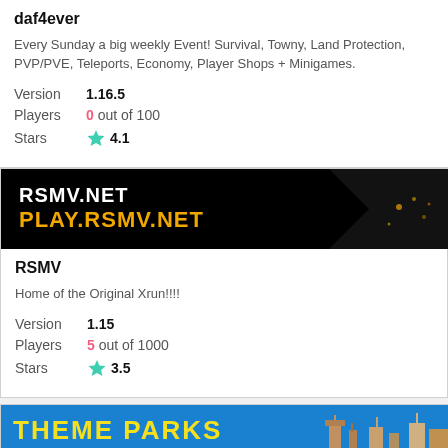daf4ever
Every Sunday a big weekly Event! Survival, Towny, Land Protection, PVP/PVE, Teleports, Economy, Player Shops + Minigames.
Version 1.16.5
Players 0 out of 100
Stars 4.1
[Figure (screenshot): RSMV.NET / PLAY.RSMV.NET banner with dark background and night scene]
RSMV
Home of the Original Xrun!!!!
Version 1.15
Players 5 out of 1000
Stars 3.5
[Figure (screenshot): THEME PARKS banner with blue background and castle imagery]